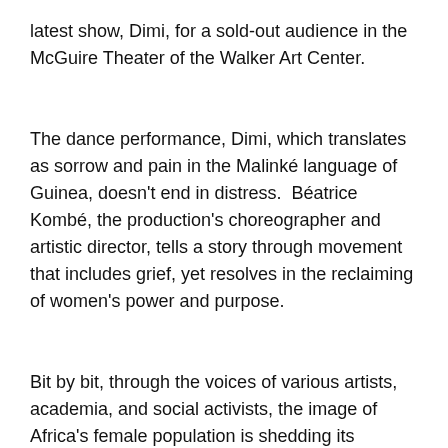latest show, Dimi, for a sold-out audience in the McGuire Theater of the Walker Art Center.
The dance performance, Dimi, which translates as sorrow and pain in the Malinké language of Guinea, doesn't end in distress.  Béatrice Kombé, the production's choreographer and artistic director, tells a story through movement that includes grief, yet resolves in the reclaiming of women's power and purpose.
Bit by bit, through the voices of various artists, academia, and social activists, the image of Africa's female population is shedding its centuries-long convention of silent passivity.